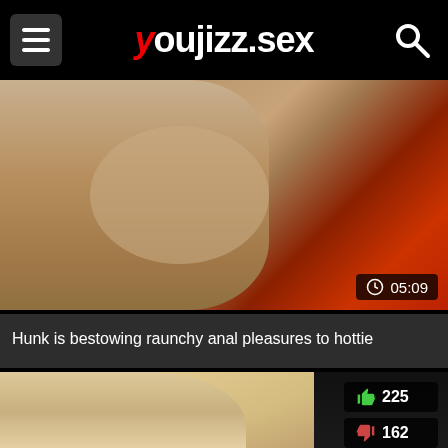youjizz.sex
[Figure (screenshot): Video thumbnail showing close-up skin tones with red fabric, duration badge 05:09]
Hunk is bestowing raunchy anal pleasures to hottie
[Figure (screenshot): Video thumbnail showing blonde person, with like count 225 and dislike count 162]